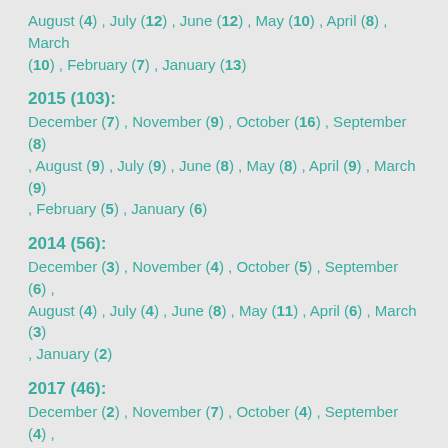August (4) , July (12) , June (12) , May (10) , April (8) , March (10) , February (7) , January (13)
2015 (103):
December (7) , November (9) , October (16) , September (8) , August (9) , July (9) , June (8) , May (8) , April (9) , March (9) , February (5) , January (6)
2014 (56):
December (3) , November (4) , October (5) , September (6) , August (4) , July (4) , June (8) , May (11) , April (6) , March (3) , January (2)
2017 (46):
December (2) , November (7) , October (4) , September (4) , August (1) , July (3) , June (3) , May (4) , April (3) , March (4) , February (5) , January (6)
2018 (38):
December (1) , November (6) , October (4) , September (2) ,